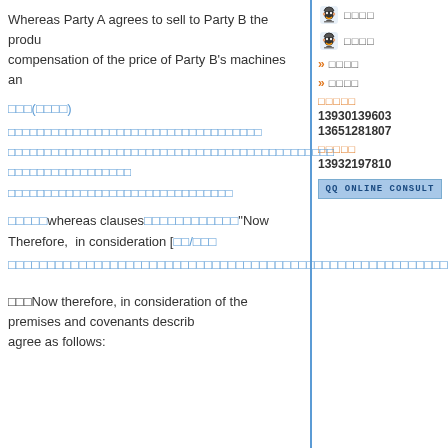Whereas Party A agrees to sell to Party B the produ... compensation of the price of Party B's machines an...
□□□(□□□□)
□□□□□□□□□□□□□□□□□□□□□□□□□□□□□□□□□□
□□□□□□□□□□□□□□□□□□□□□□□□□□□□□□□□□□□□□□□□□□□□
□□□□□□□□□□□□□□□□□
□□□□□□□□□□□□□□□□□□□□□□□□□□□□□□□
□□□□□whereas clauses□□□□□□□□□□□□"Now Therefore, in consideration [□□/□□□...
□□□□□□□□□□□□□□□□□□□□□□□□□□□□□□□□□□□□□□□□□□□□□□□□□□□□□□□□□□□□□□□□□□□□□□□□□□□□□□□□□□□□...
□□□Now therefore, in consideration of the premises and covenants describ... agree as follows: